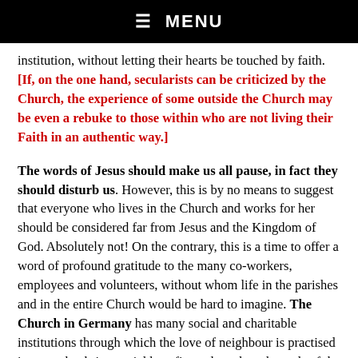☰ MENU
institution, without letting their hearts be touched by faith. [If, on the one hand, secularists can be criticized by the Church, the experience of some outside the Church may be even a rebuke to those within who are not living their Faith in an authentic way.]
The words of Jesus should make us all pause, in fact they should disturb us. However, this is by no means to suggest that everyone who lives in the Church and works for her should be considered far from Jesus and the Kingdom of God. Absolutely not! On the contrary, this is a time to offer a word of profound gratitude to the many co-workers, employees and volunteers, without whom life in the parishes and in the entire Church would be hard to imagine. The Church in Germany has many social and charitable institutions through which the love of neighbour is practised in ways that bring social benefits and reach to the ends of the earth. I would like to express my